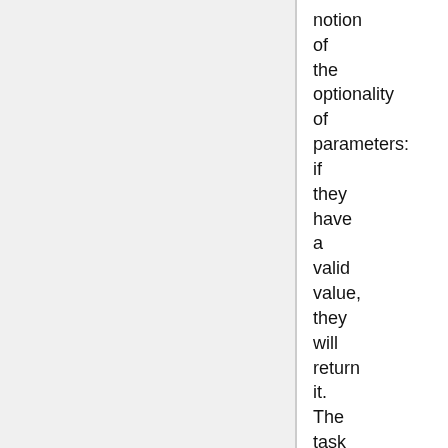notion of the optionality of parameters: if they have a valid value, they will return it. The task machinery will not generate